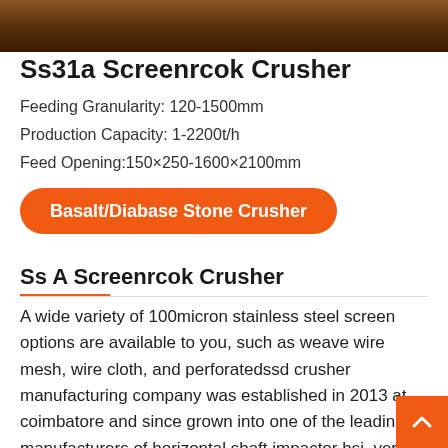[Figure (photo): Dark brown rocky/soil background photo strip at top of page]
Ss31a Screenrcok Crusher
Feeding Granularity: 120-1500mm
Production Capacity: 1-2200t/h
Feed Opening:150×250-1600×2100mm
Basalt/Diabase Stone Crusher
Ss A Screenrcok Crusher
A wide variety of 100micron stainless steel screen options are available to you, such as weave wire mesh, wire cloth, and perforatedssd crusher manufacturing company was established in 2013 at coimbatore and since grown into one of the leading manufacturers of horizontal shaft impactor hsi, vertical shaft impactor vsi,